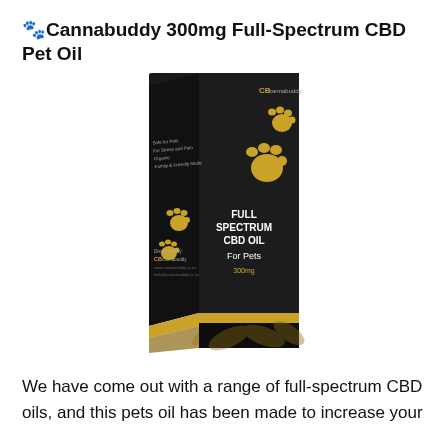🐾Cannabuddy 300mg Full-Spectrum CBD Pet Oil
[Figure (photo): Product photo of a dark/black box with gold paw prints and text reading 'FULL SPECTRUM CBD OIL For Pets 300mg', distributed by CB Cannabuddy. The box has a gold bottom band and cannabis leaf design at the base.]
We have come out with a range of full-spectrum CBD oils, and this pets oil has been made to increase your